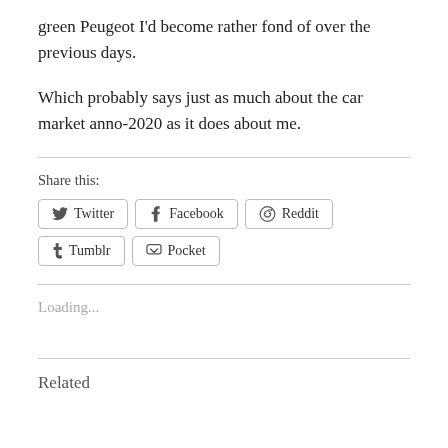green Peugeot I'd become rather fond of over the previous days.
Which probably says just as much about the car market anno-2020 as it does about me.
Share this:
Twitter Facebook Reddit Tumblr Pocket
Loading...
Related